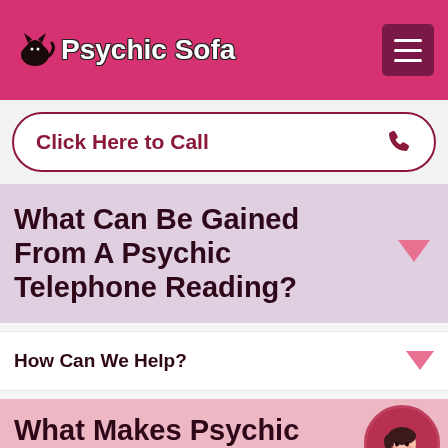Psychic Sofa
Click Here to Call
What Can Be Gained From A Psychic Telephone Reading?
How Can We Help?
What Makes Psychic Sofa The Right Choice